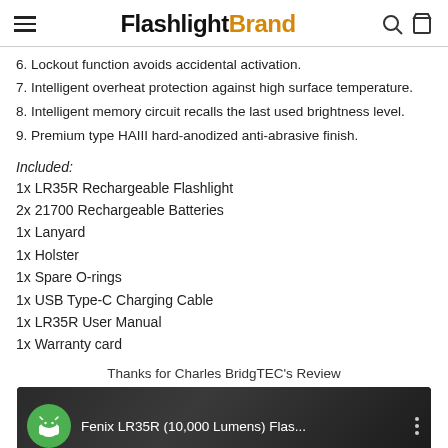FlashlightBrand
6. Lockout function avoids accidental activation.
7. Intelligent overheat protection against high surface temperature.
8. Intelligent memory circuit recalls the last used brightness level.
9. Premium type HAIII hard-anodized anti-abrasive finish.
Included:
1x LR35R Rechargeable Flashlight
2x 21700 Rechargeable Batteries
1x Lanyard
1x Holster
1x Spare O-rings
1x USB Type-C Charging Cable
1x LR35R User Manual
1x Warranty card
Thanks for Charles BridgTEC's Review
[Figure (screenshot): Video thumbnail showing Fenix LR35R (10,000 Lumens) Flashlight review by Charles BridgTEC with Android mascot avatar]